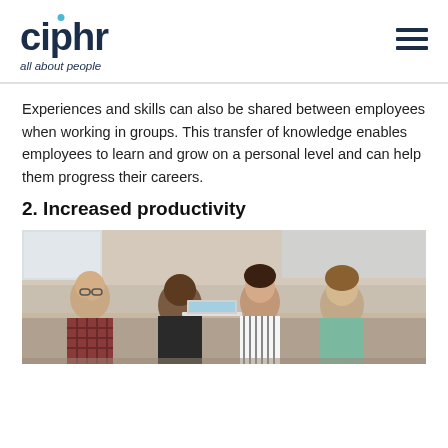ciphr all about people
Experiences and skills can also be shared between employees when working in groups. This transfer of knowledge enables employees to learn and grow on a personal level and can help them progress their careers.
2. Increased productivity
[Figure (photo): Photo of four people sitting around a table in an office setting, appearing to be in a collaborative meeting or discussion.]